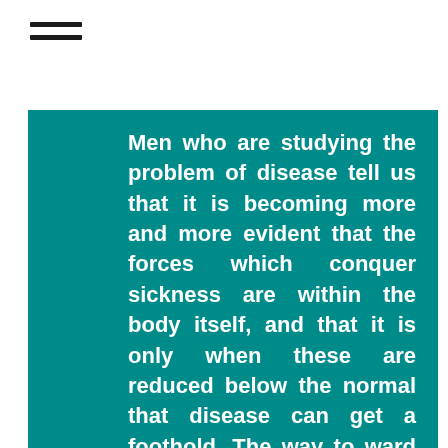Men who are studying the problem of disease tell us that it is becoming more and more evident that the forces which conquer sickness are within the body itself, and that it is only when these are reduced below the normal that disease can get a foothold. The way to ward off disease, therefore, is to tone up the body generally; and, when disease has secured a foothold, the way to combat it is to help these natural resisting agencies -which are in the body already. In the same way the failures which a man makes in his life are due almost always to some defect in his